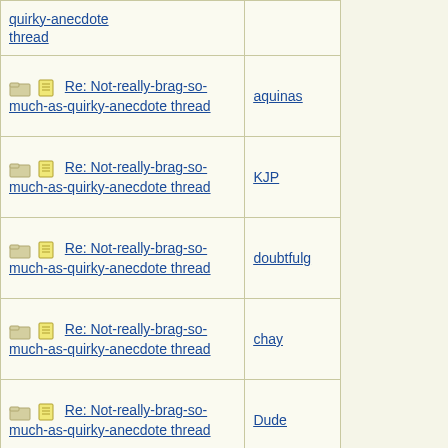| Thread | Author |
| --- | --- |
| Re: Not-really-brag-so-much-as-quirky-anecdote thread | aquinas |
| Re: Not-really-brag-so-much-as-quirky-anecdote thread | KJP |
| Re: Not-really-brag-so-much-as-quirky-anecdote thread | doubtfulg |
| Re: Not-really-brag-so-much-as-quirky-anecdote thread | chay |
| Re: Not-really-brag-so-much-as-quirky-anecdote thread | Dude |
| Re: Not-really-brag-so-much-as-quirky-anecdote thread | 22B |